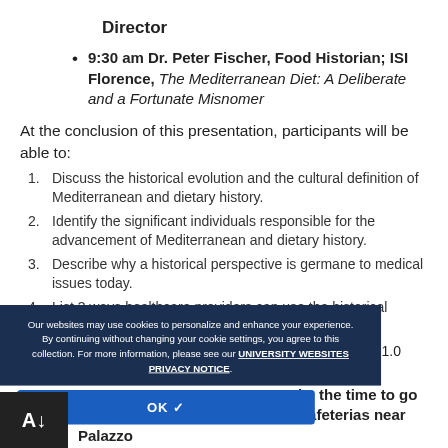Director
9:30 am Dr. Peter Fischer, Food Historian; ISI Florence, The Mediterranean Diet: A Deliberate and a Fortunate Misnomer
At the conclusion of this presentation, participants will be able to:
1. Discuss the historical evolution and the cultural definition of Mediterranean and dietary history.
2. Identify the significant individuals responsible for the advancement of Mediterranean and dietary history.
3. Describe why a historical perspective is germane to medical issues today.
4. List 3 ways healthcare providers can use the historical information to empower patients to promote health
ACPE Number: 0009-0000-22-003-L04-P/T   0.1 CEU or 1.0 Credit hours   knowledge
10:30 am – 11:00   take the time to go for a coffee in one of the many cafeterias near Palazzo
[Figure (other): Cookie consent overlay with dark navy background, containing text: 'Our websites may use cookies to personalize and enhance your experience. By continuing without changing your cookie settings, you agree to this collection. For more information, please see our UNIVERSITY WEBSITES PRIVACY NOTICE.' with an OK button below.]